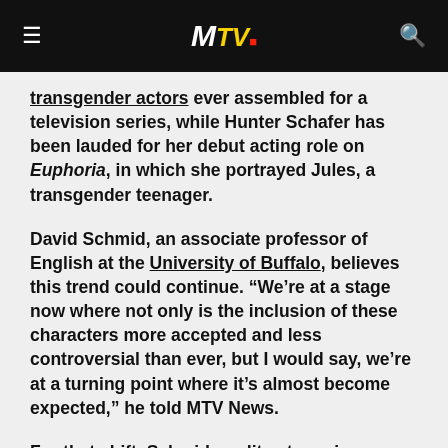MTV
transgender actors ever assembled for a television series, while Hunter Schafer has been lauded for her debut acting role on Euphoria, in which she portrayed Jules, a transgender teenager.
David Schmid, an associate professor of English at the University of Buffalo, believes this trend could continue. “We’re at a stage now where not only is the inclusion of these characters more accepted and less controversial than ever, but I would say, we’re at a turning point where it’s almost become expected,” he told MTV News.
For that shift, Schmid credits streaming services as a driving force behind both access to diverse storylines; thanks in part to social media, viewers are also more likely to hold their media providers accountable to